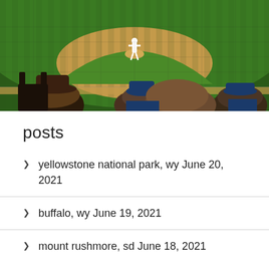[Figure (photo): Photo of a baseball game viewed from the stands. The infield dirt and green grass are visible with a pitcher on the mound. In the foreground, spectators' heads and shoulders are visible including people wearing baseball caps.]
posts
yellowstone national park, wy June 20, 2021
buffalo, wy June 19, 2021
mount rushmore, sd June 18, 2021